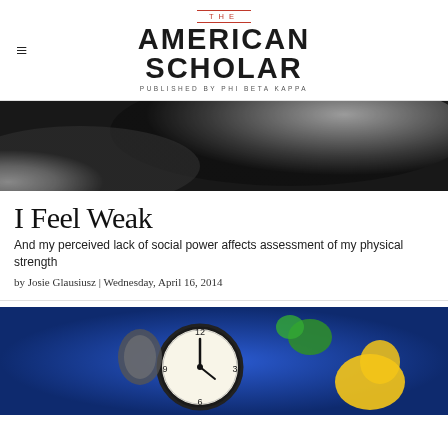THE AMERICAN SCHOLAR — PUBLISHED BY PHI BETA KAPPA
[Figure (photo): Black and white close-up photograph, abstract shapes with dark and light gradients]
I Feel Weak
And my perceived lack of social power affects assessment of my physical strength
by Josie Glausiusz | Wednesday, April 16, 2014
[Figure (photo): Color photograph showing a clock on a blue background with colorful cartoon-like characters]